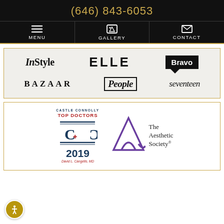(646) 843-6053
[Figure (screenshot): Navigation bar with Menu, Gallery, and Contact icons on black background]
[Figure (logo): Media logos section showing InStyle, ELLE, Bravo, BAZAAR, People, seventeen on a grey background with gold border]
[Figure (logo): Awards section showing Castle Connolly Top Doctors 2019 badge for David L. Cangello MD and The Aesthetic Society logo]